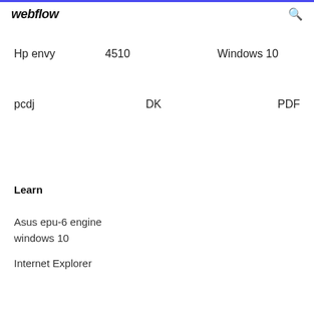webflow
Hp envy    4510    Windows 10
pcdj    DK    PDF
Learn
Asus epu-6 engine windows 10
Internet Explorer